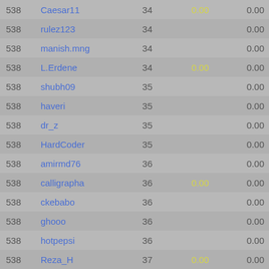| Rank | Name | Num | Score1 | Score2 |
| --- | --- | --- | --- | --- |
| 538 | Caesar11 | 34 | 0.00 | 0.00 |
| 538 | rulez123 | 34 |  | 0.00 |
| 538 | manish.mng | 34 |  | 0.00 |
| 538 | L.Erdene | 34 | 0.00 | 0.00 |
| 538 | shubh09 | 35 |  | 0.00 |
| 538 | haveri | 35 |  | 0.00 |
| 538 | dr_z | 35 |  | 0.00 |
| 538 | HardCoder | 35 |  | 0.00 |
| 538 | amirmd76 | 36 |  | 0.00 |
| 538 | calligrapha | 36 | 0.00 | 0.00 |
| 538 | ckebabo | 36 |  | 0.00 |
| 538 | ghooo | 36 |  | 0.00 |
| 538 | hotpepsi | 36 |  | 0.00 |
| 538 | Reza_H | 37 | 0.00 | 0.00 |
| 538 | snsp | 37 |  | 0.00 |